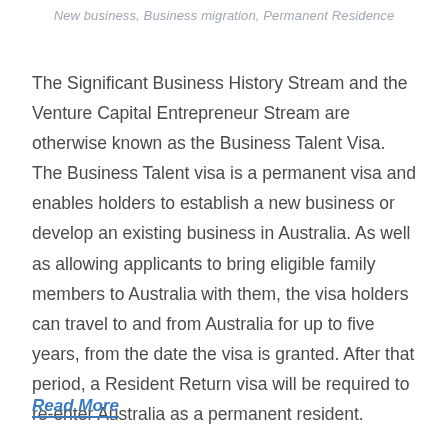New business, Business migration, Permanent Residence
The Significant Business History Stream and the Venture Capital Entrepreneur Stream are otherwise known as the Business Talent Visa. The Business Talent visa is a permanent visa and enables holders to establish a new business or develop an existing business in Australia. As well as allowing applicants to bring eligible family members to Australia with them, the visa holders can travel to and from Australia for up to five years, from the date the visa is granted. After that period, a Resident Return visa will be required to re-enter Australia as a permanent resident.
Read More